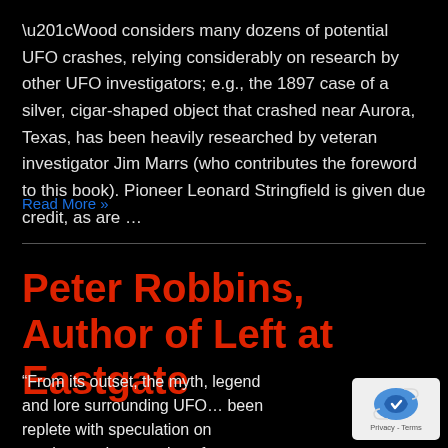“Wood considers many dozens of potential UFO crashes, relying considerably on research by other UFO investigators; e.g., the 1897 case of a silver, cigar-shaped object that crashed near Aurora, Texas, has been heavily researched by veteran investigator Jim Marrs (who contributes the foreword to this book). Pioneer Leonard Stringfield is given due credit, as are …
Read More »
Peter Robbins, Author of Left at Eastgate
“From its outset, the myth, legend and lore surrounding UFO… been replete with speculation on crashes and recoveries of… unknown craft. No one in the field has done more research and…